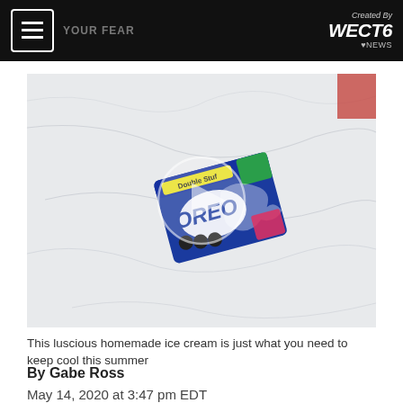Created By WECT 6 NEWS
[Figure (photo): A package of Double Stuf Oreo cookies lying on a white marble surface, with a circular play button overlay on the image.]
This luscious homemade ice cream is just what you need to keep cool this summer
By Gabe Ross
May 14, 2020 at 3:47 pm EDT